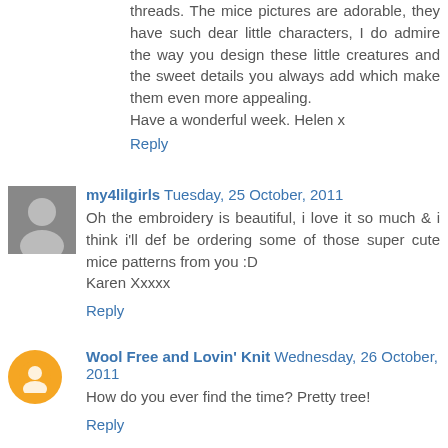threads. The mice pictures are adorable, they have such dear little characters, I do admire the way you design these little creatures and the sweet details you always add which make them even more appealing.
Have a wonderful week. Helen x
Reply
my4lilgirls   Tuesday, 25 October, 2011
Oh the embroidery is beautiful, i love it so much & i think i'll def be ordering some of those super cute mice patterns from you :D
Karen Xxxxx
Reply
Wool Free and Lovin' Knit   Wednesday, 26 October, 2011
How do you ever find the time? Pretty tree!
Reply